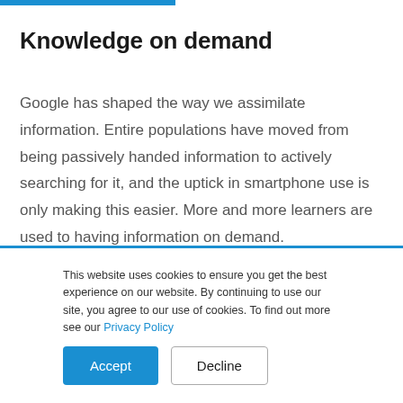Knowledge on demand
Google has shaped the way we assimilate information. Entire populations have moved from being passively handed information to actively searching for it, and the uptick in smartphone use is only making this easier. More and more learners are used to having information on demand.
This website uses cookies to ensure you get the best experience on our website. By continuing to use our site, you agree to our use of cookies. To find out more see our Privacy Policy